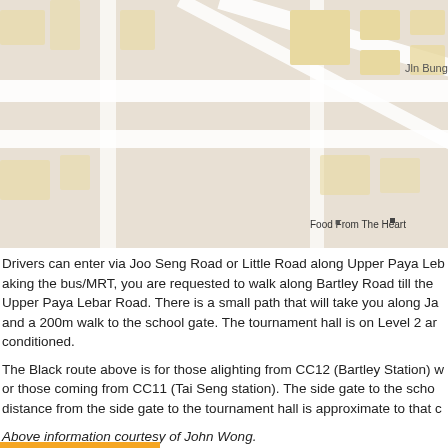[Figure (map): Google Maps screenshot showing Joo Seng Road area with landmarks including Food From The Heart, ezbuy, Kay Lee, Joo Seng Rd, and Jln Bunga Rampai. Buildings shown in tan/yellow on grey street map.]
Drivers can enter via Joo Seng Road or Little Road along Upper Paya Lebar Road. If taking the bus/MRT, you are requested to walk along Bartley Road till the junction of Upper Paya Lebar Road. There is a small path that will take you along Jalan... and a 200m walk to the school gate. The tournament hall is on Level 2 and is air-conditioned.
The Black route above is for those alighting from CC12 (Bartley Station) while... for those coming from CC11 (Tai Seng station). The side gate to the school... distance from the side gate to the tournament hall is approximate to that of...
Above information courtesy of John Wong.
updated 19 Oct 2016